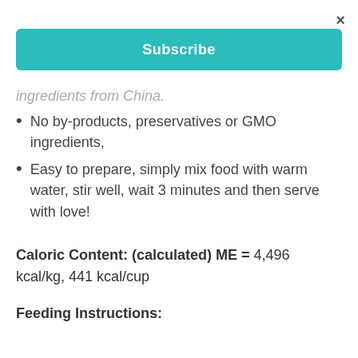×
Subscribe
ingredients from China.
No by-products, preservatives or GMO ingredients,
Easy to prepare, simply mix food with warm water, stir well, wait 3 minutes and then serve with love!
Caloric Content: (calculated) ME = 4,496 kcal/kg, 441 kcal/cup
Feeding Instructions: